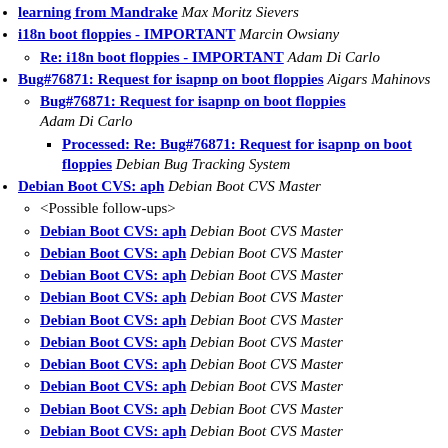learning from Mandrake Max Moritz Sievers
i18n boot floppies - IMPORTANT Marcin Owsiany
Re: i18n boot floppies - IMPORTANT Adam Di Carlo
Bug#76871: Request for isapnp on boot floppies Aigars Mahinovs
Bug#76871: Request for isapnp on boot floppies Adam Di Carlo
Processed: Re: Bug#76871: Request for isapnp on boot floppies Debian Bug Tracking System
Debian Boot CVS: aph Debian Boot CVS Master
<Possible follow-ups>
Debian Boot CVS: aph Debian Boot CVS Master
Debian Boot CVS: aph Debian Boot CVS Master
Debian Boot CVS: aph Debian Boot CVS Master
Debian Boot CVS: aph Debian Boot CVS Master
Debian Boot CVS: aph Debian Boot CVS Master
Debian Boot CVS: aph Debian Boot CVS Master
Debian Boot CVS: aph Debian Boot CVS Master
Debian Boot CVS: aph Debian Boot CVS Master
Debian Boot CVS: aph Debian Boot CVS Master
Debian Boot CVS: aph Debian Boot CVS Master
Debian Boot CVS: aph Debian Boot CVS Master
Debian Boot CVS: aph Debian Boot CVS Master